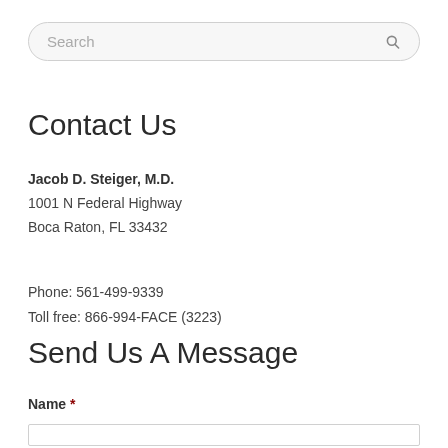Search
Contact Us
Jacob D. Steiger, M.D.
1001 N Federal Highway
Boca Raton, FL 33432
Phone: 561-499-9339
Toll free: 866-994-FACE (3223)
Send Us A Message
Name *